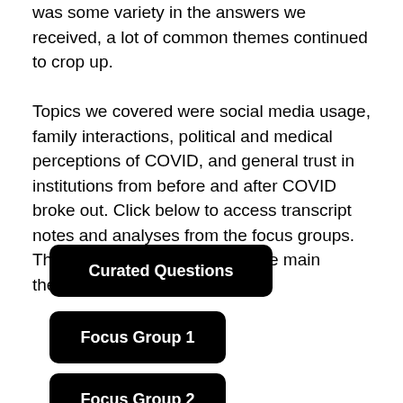was some variety in the answers we received, a lot of common themes continued to crop up.
Topics we covered were social media usage, family interactions, political and medical perceptions of COVID, and general trust in institutions from before and after COVID broke out. Click below to access transcript notes and analyses from the focus groups. Then, guide yourself through the main themes of analyses below.
Curated Questions
Focus Group 1
Focus Group 2